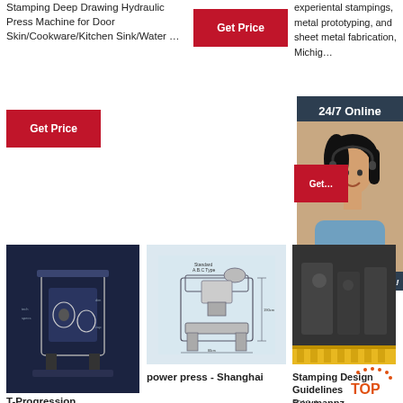Stamping Deep Drawing Hydraulic Press Machine for Door Skin/Cookware/Kitchen Sink/Water …
[Figure (photo): Get Price button (red) top center]
[Figure (photo): Get Price button (red) left below text]
experiental stampings, metal prototyping, and sheet metal fabrication, Michigan
[Figure (photo): 24/7 Online dark bar with customer service agent photo overlay]
[Figure (photo): Click here for free chat! button with QUOTATION orange button]
[Figure (photo): Get Price button (red) right side]
[Figure (photo): T-Progression stamping machine dark blue background photo]
[Figure (engineering-diagram): Power press Standard A,B,C Type diagram with dimensions]
[Figure (photo): Stamping machine yellow conveyor photo]
power press - Shanghai
T-Progression
Stamping Design Guidelines Bowmannz
2010-4